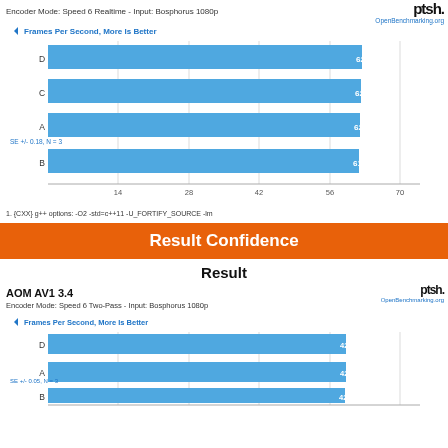Encoder Mode: Speed 6 Realtime - Input: Bosphorus 1080p
[Figure (bar-chart): Frames Per Second, More Is Better]
1. {CXX} g++ options: -O2 -std=c++11 -U_FORTIFY_SOURCE -lm
Result Confidence
Result
AOM AV1 3.4
Encoder Mode: Speed 6 Two-Pass - Input: Bosphorus 1080p
[Figure (bar-chart): Frames Per Second, More Is Better]